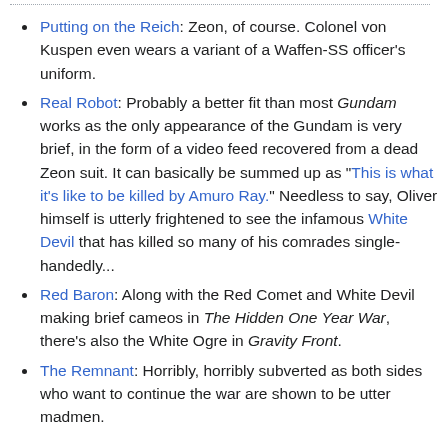Putting on the Reich: Zeon, of course. Colonel von Kuspen even wears a variant of a Waffen-SS officer's uniform.
Real Robot: Probably a better fit than most Gundam works as the only appearance of the Gundam is very brief, in the form of a video feed recovered from a dead Zeon suit. It can basically be summed up as "This is what it's like to be killed by Amuro Ray." Needless to say, Oliver himself is utterly frightened to see the infamous White Devil that has killed so many of his comrades single-handedly...
Red Baron: Along with the Red Comet and White Devil making brief cameos in The Hidden One Year War, there's also the White Ogre in Gravity Front.
The Remnant: Horribly, horribly subverted as both sides who want to continue the war are shown to be utter madmen.